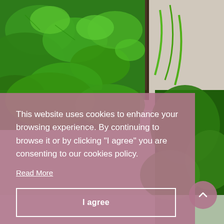[Figure (photo): Close-up photo of lush green tropical leaves and plants with a tree trunk and grey concrete/stone wall visible in the background. Dense foliage of heart-shaped leaves and narrow grass-like leaves fill the frame.]
This website uses cookies to enhance your browsing experience. By continuing to browse it or by clicking "I agree" you are consenting to our cookies policy.
Read More
I agree